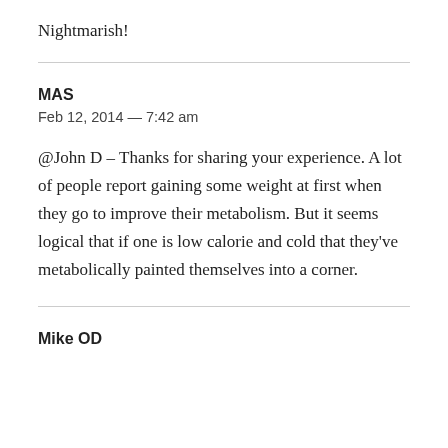Nightmarish!
MAS
Feb 12, 2014 — 7:42 am

@John D – Thanks for sharing your experience. A lot of people report gaining some weight at first when they go to improve their metabolism. But it seems logical that if one is low calorie and cold that they've metabolically painted themselves into a corner.
Mike OD